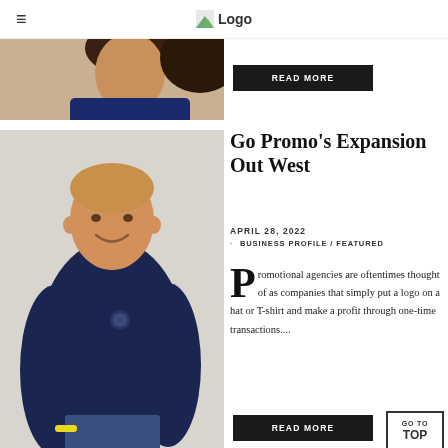Logo
[Figure (photo): Partial view of a woman with dark hair wearing a blue outfit]
READ MORE
[Figure (photo): Man in navy blue quarter-zip pullover with orange accent, jeans, smiling, standing with hands in pockets against light gray background]
Go Promo's Expansion Out West
APRIL 28, 2022
BUSINESS PROFILE / FEATURED
Promotional agencies are oftentimes thought of as companies that simply put a logo on a hat or T-shirt and make a profit through one-time transactions....
READ MORE
GO TO TOP